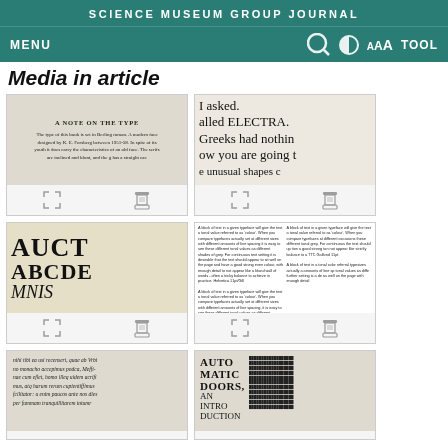SCIENCE MUSEUM GROUP JOURNAL
MENU  🔍  ◐  AAA  TOOL
Media in article
[Figure (screenshot): Thumbnail of a typeset page showing 'A NOTE ON THE TYPE' with descriptive text about Berling roman typeface]
[Figure (screenshot): Thumbnail of large serif text reading 'I asked. alled ELECTRA. Greeks had nothin ow you are going t e unusual shapes e']
[Figure (screenshot): Thumbnail showing large decorative auction typeface text: AUCT ABCDE MNS]
[Figure (screenshot): Thumbnail of two columns of small text describing typeface tonal values, comparing typefaces at different sizes (Helvetica 11pt/Gill)]
[Figure (screenshot): Thumbnail of Latin text beginning 'nihi tibi ea usi recenseri, quae ab Vrbi no monacho accepimus podca, Messinae cum eflet, homo illeq uidem acriffimus, atq harum rerum cupientiffimus fcilitator...']
[Figure (screenshot): Thumbnail showing 'AUTOMATIC DOORS, AN INTRODUCTION' in display type with columns of text]